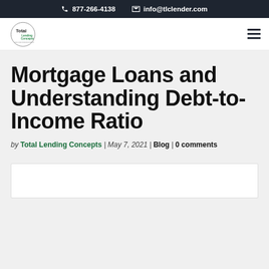877-266-4138   info@tlclender.com
[Figure (logo): Total Lending Concepts logo — circular icon with green and black text]
Mortgage Loans and Understanding Debt-to-Income Ratio
by Total Lending Concepts | May 7, 2021 | Blog | 0 comments
[Figure (photo): Article featured image placeholder (white box at bottom)]